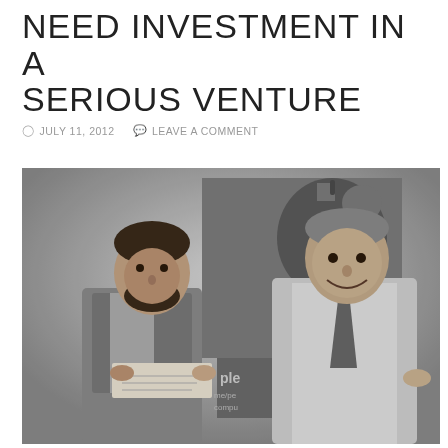NEED INVESTMENT IN A SERIOUS VENTURE
JULY 11, 2012   LEAVE A COMMENT
[Figure (photo): Black and white photograph of two men standing in front of an Apple Computer sign. The man on the left has dark hair and a beard, wearing a sweater vest over a plaid shirt, holding up a check. The man on the right is taller, wearing a white shirt and patterned tie, smiling broadly with his hand on his hip.]